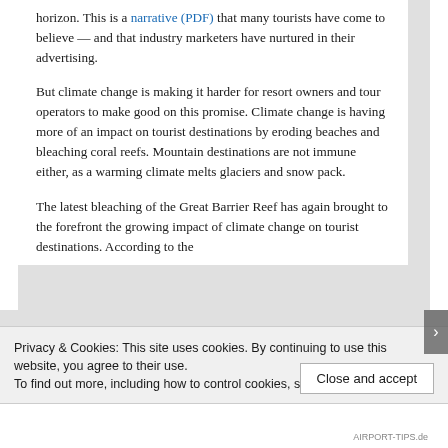horizon. This is a narrative (PDF) that many tourists have come to believe — and that industry marketers have nurtured in their advertising.
But climate change is making it harder for resort owners and tour operators to make good on this promise. Climate change is having more of an impact on tourist destinations by eroding beaches and bleaching coral reefs. Mountain destinations are not immune either, as a warming climate melts glaciers and snow pack.
The latest bleaching of the Great Barrier Reef has again brought to the forefront the growing impact of climate change on tourist destinations. According to the
Privacy & Cookies: This site uses cookies. By continuing to use this website, you agree to their use.
To find out more, including how to control cookies, see here: Cookie Policy